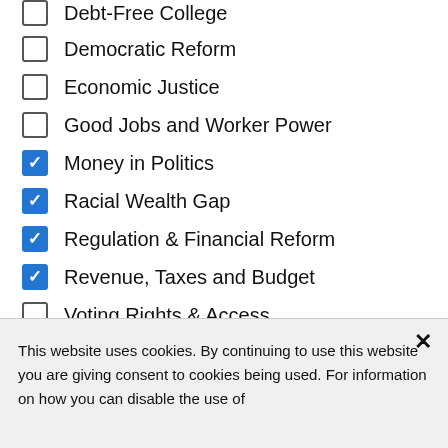Debt-Free College
Democratic Reform
Economic Justice
Good Jobs and Worker Power
Money in Politics
Racial Wealth Gap
Regulation & Financial Reform
Revenue, Taxes and Budget
Voting Rights & Access
This website uses cookies. By continuing to use this website you are giving consent to cookies being used. For information on how you can disable the use of